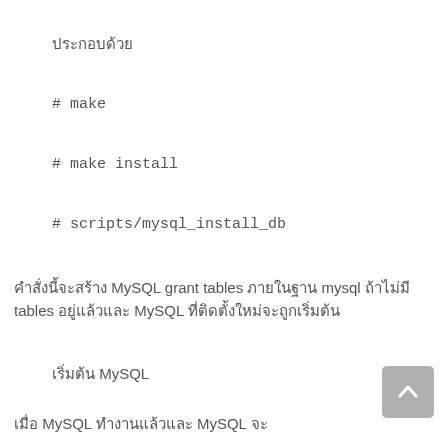ประกอบด้วย
# make
# make install
# scripts/mysql_install_db
คำสั่งนี้จะสร้าง MySQL grant tables ภายในฐาน mysql ถ้าไม่มี tables อยู่แล้วและ MySQL ที่ติดตั้งใหม่จะถูกเริ่มต้น
เริ่มต้น MySQL
เมื่อ MySQL ทำงานแล้วและ MySQL จะ